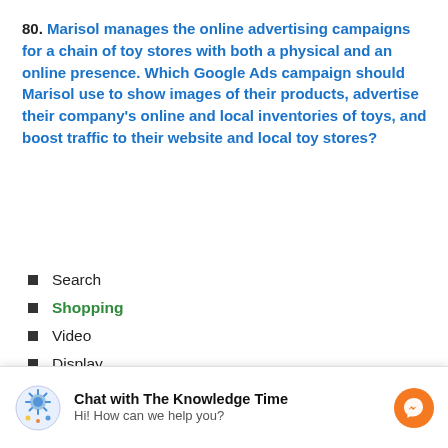80. Marisol manages the online advertising campaigns for a chain of toy stores with both a physical and an online presence. Which Google Ads campaign should Marisol use to show images of their products, advertise their company's online and local inventories of toys, and boost traffic to their website and local toy stores?
Search
Shopping
Video
Display
81. Marta has a tight marketing budget and needs to use a strategy that can drive customers to her...
[Figure (other): Chat overlay widget: 'Chat with The Knowledge Time' with messenger icon and 'Hi! How can we help you?' subtitle]